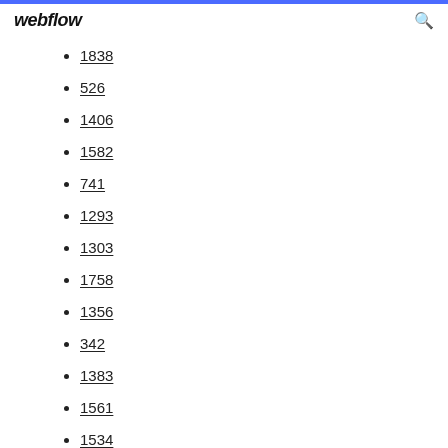webflow
1838
526
1406
1582
741
1293
1303
1758
1356
342
1383
1561
1534